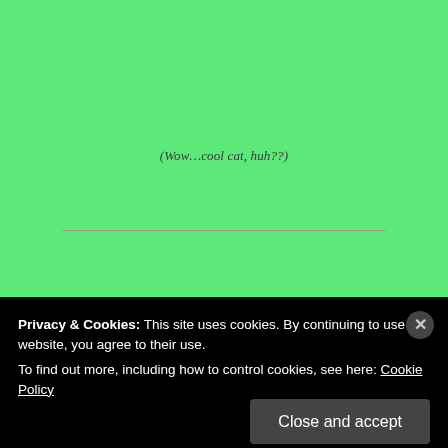(Wow…cool cat, huh??)
Excerpt
Two-liter paint cans were lobbed at the front of the car, covering the front windshield and blocking Lea's view of the gate into the CBD.
Advertisements
Privacy & Cookies: This site uses cookies. By continuing to use this website, you agree to their use.
To find out more, including how to control cookies, see here: Cookie Policy
Close and accept